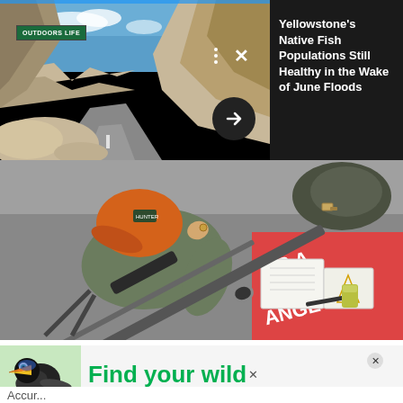[Figure (photo): Road/canyon landscape photo showing a winding road alongside rocky cliffs under blue sky, with Outdoor Life logo overlay]
Yellowstone's Native Fish Populations Still Healthy in the Wake of June Floods
[Figure (photo): Overhead shot of a person in an orange cap and olive shirt writing notes at a shooting range table with a rifle and gear bag]
[Figure (photo): Ad banner with a colorful toucan bird and text 'Find your wild']
Accur...